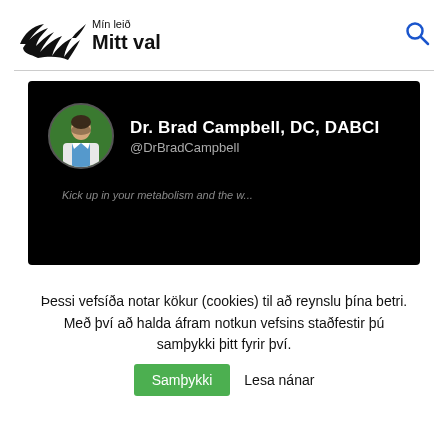Mín leið Mitt val
[Figure (screenshot): Screenshot of a Twitter/social media profile header for Dr. Brad Campbell, DC, DABCI (@DrBradCampbell) on a black background, with a circular profile photo of a man in a white coat, and partially visible tweet text at the bottom.]
Þessi vefsíða notar kökur (cookies) til að reynslu þína betri. Með því að halda áfram notkun vefsins staðfestir þú samþykki þitt fyrir því.
Samþykki   Lesa nánar